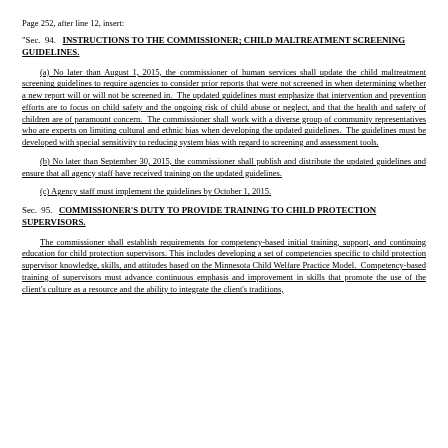Page 252, after line 12, insert:
"Sec. 94. INSTRUCTIONS TO THE COMMISSIONER; CHILD MALTREATMENT SCREENING GUIDELINES.
(a) No later than August 1, 2015, the commissioner of human services shall update the child maltreatment screening guidelines to require agencies to consider prior reports that were not screened in when determining whether a new report will or will not be screened in. The updated guidelines must emphasize that intervention and prevention efforts are to focus on child safety and the ongoing risk of child abuse or neglect, and that the health and safety of children are of paramount concern. The commissioner shall work with a diverse group of community representatives who are experts on limiting cultural and ethnic bias when developing the updated guidelines. The guidelines must be developed with special sensitivity to reducing system bias with regard to screening and assessment tools.
(b) No later than September 30, 2015, the commissioner shall publish and distribute the updated guidelines and ensure that all agency staff have received training on the updated guidelines.
(c) Agency staff must implement the guidelines by October 1, 2015.
Sec. 95. COMMISSIONER'S DUTY TO PROVIDE TRAINING TO CHILD PROTECTION SUPERVISORS.
The commissioner shall establish requirements for competency-based initial training, support, and continuing education for child protection supervisors. This includes developing a set of competencies specific to child protection supervisor knowledge, skills, and attitudes based on the Minnesota Child Welfare Practice Model. Competency-based training of supervisors must advance continuous emphasis and improvement in skills that promote the use of the client's culture as a resource and the ability to integrate the client's traditions,